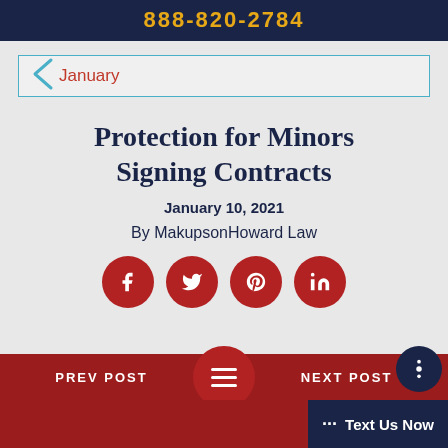888-820-2784
January
Protection for Minors Signing Contracts
January 10, 2021
By MakupsonHoward Law
[Figure (other): Social media share icons: Facebook, Twitter, Pinterest, LinkedIn — red circles with white icons]
PREV POST
NEXT POST
··· Text Us Now